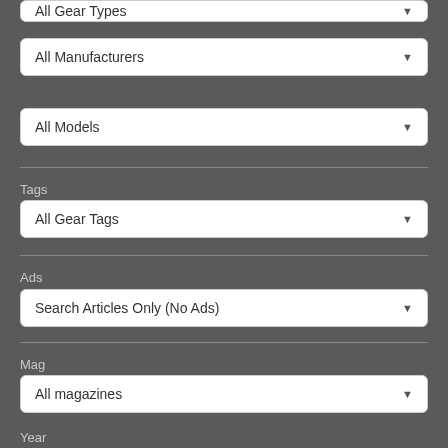[Figure (screenshot): Partial dropdown at top showing 'All Gear Types' (clipped)]
All Manufacturers
All Models
Tags
All Gear Tags
Ads
Search Articles Only (No Ads)
Mag
All magazines
Year